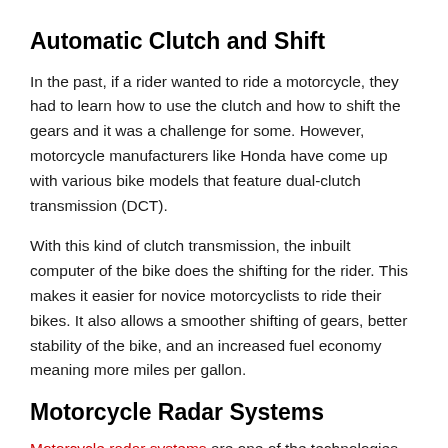Automatic Clutch and Shift
In the past, if a rider wanted to ride a motorcycle, they had to learn how to use the clutch and how to shift the gears and it was a challenge for some. However, motorcycle manufacturers like Honda have come up with various bike models that feature dual-clutch transmission (DCT).
With this kind of clutch transmission, the inbuilt computer of the bike does the shifting for the rider. This makes it easier for novice motorcyclists to ride their bikes. It also allows a smoother shifting of gears, better stability of the bike, and an increased fuel economy meaning more miles per gallon.
Motorcycle Radar Systems
Motorcycle radar systems are one of the technologies